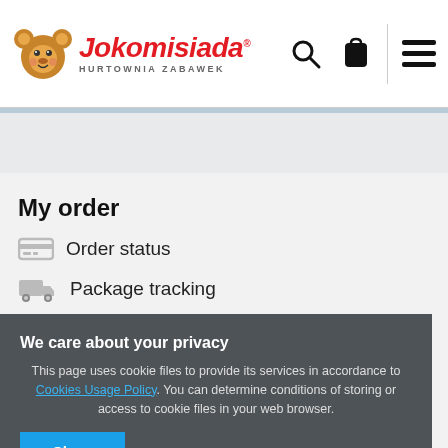[Figure (logo): Jokomisiada logo with cartoon bear and red italic text 'Jokomisiada' and subtitle 'HURTOWNIA ZABAWEK']
My order
Order status
Package tracking
We care about your privacy
This page uses cookie files to provide its services in accordance to Cookies Usage Policy. You can determine conditions of storing or access to cookie files in your web browser.
Close